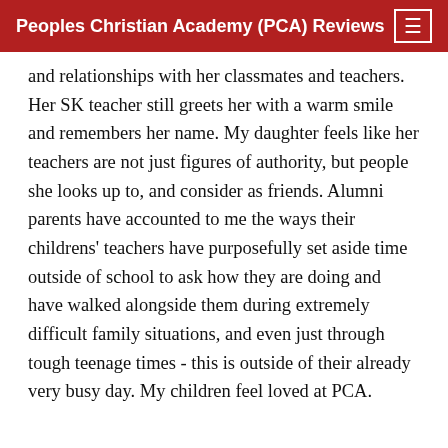Peoples Christian Academy (PCA) Reviews
and relationships with her classmates and teachers. Her SK teacher still greets her with a warm smile and remembers her name. My daughter feels like her teachers are not just figures of authority, but people she looks up to, and consider as friends. Alumni parents have accounted to me the ways their childrens' teachers have purposefully set aside time outside of school to ask how they are doing and have walked alongside them during extremely difficult family situations, and even just through tough teenage times - this is outside of their already very busy day. My children feel loved at PCA.